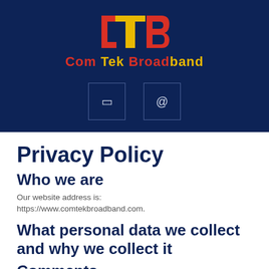[Figure (logo): Com Tek Broadband (CTB) logo with dark navy background, red and yellow CTB initials graphic, and brand name in red/yellow text]
Privacy Policy
Who we are
Our website address is: https://www.comtekbroadband.com.
What personal data we collect and why we collect it
Comments